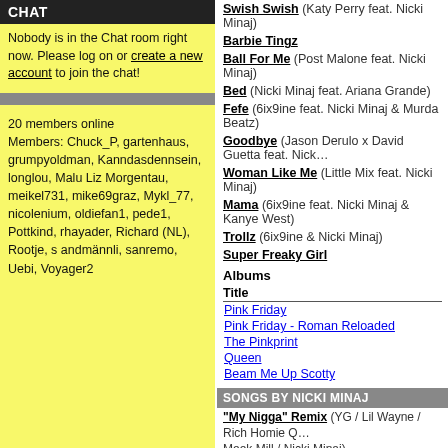CHAT
Nobody is in the Chat room right now. Please log on or create a new account to join the chat!
20 members online
Members: Chuck_P, gartenhaus, grumpyoldman, Kanndasdennsein, longlou, Malu Liz Morgentau, meikel731, mike69graz, Mykl_77, nicolenium, oldiefan1, pede1, Pottkind, rhayader, Richard (NL), Rootje, s andmännli, sanremo, Uebi, Voyager2
Swish Swish (Katy Perry feat. Nicki Minaj)
Barbie Tingz
Ball For Me (Post Malone feat. Nicki Minaj)
Bed (Nicki Minaj feat. Ariana Grande)
Fefe (6ix9ine feat. Nicki Minaj & Murda Beatz)
Goodbye (Jason Derulo x David Guetta feat. Nicki…)
Woman Like Me (Little Mix feat. Nicki Minaj)
Mama (6ix9ine feat. Nicki Minaj & Kanye West)
Trollz (6ix9ine & Nicki Minaj)
Super Freaky Girl
Albums
| Title |
| --- |
| Pink Friday |
| Pink Friday - Roman Reloaded |
| The Pinkprint |
| Queen |
| Beam Me Up Scotty |
SONGS BY NICKI MINAJ
"My Nigga" Remix (YG / Lil Wayne / Rich Homie Q / Meek Mill / Nicki Minaj)
#Twerkit (Busta Rhymes feat. Nicki Minaj)
2012 (It Ain't The End) (Jay Sean feat. Nicki Minaj)
All Eyes On You (Meek Mill / Nicki Minaj / Chris B…)
All Things Go
Always Love You (Nicki Minaj feat. Gudda Gudda)
Always Love You (Elton John, Young Thug & Nicki…)